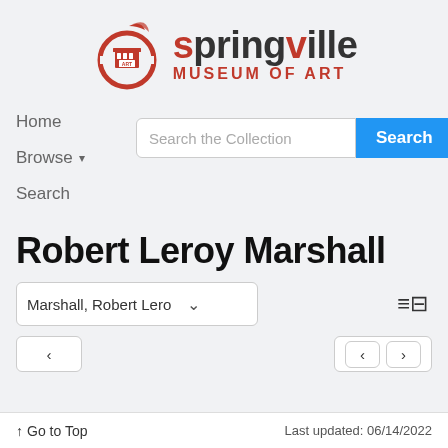[Figure (logo): Springville Museum of Art logo with red circular icon and text]
Home
Browse ▾
Search
Robert Leroy Marshall
Marshall, Robert Lero ▾
↑ Go to Top    Last updated: 06/14/2022